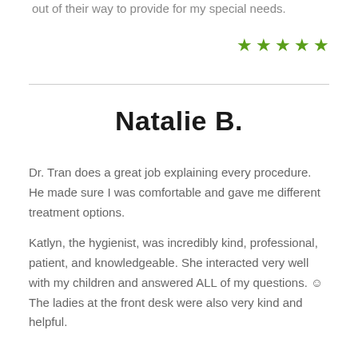out of their way to provide for my special needs.
[Figure (other): Five green stars rating]
Natalie B.
Dr. Tran does a great job explaining every procedure. He made sure I was comfortable and gave me different treatment options.
Katlyn, the hygienist, was incredibly kind, professional, patient, and knowledgeable. She interacted very well with my children and answered ALL of my questions. ☺ The ladies at the front desk were also very kind and helpful.